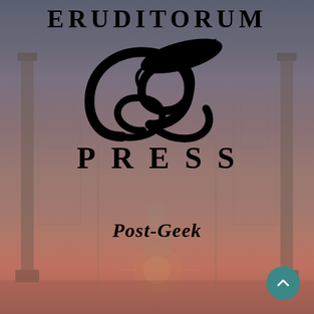ERUDITORUM
[Figure (logo): Eruditorum Press stylized EP logo in black cursive/calligraphic style]
PRESS
Post-Geek
[Figure (illustration): Background illustration of a fantasy/magical scene with a figure in robes standing in an ornate architectural space with glowing light, rendered in muted reddish-grey tones]